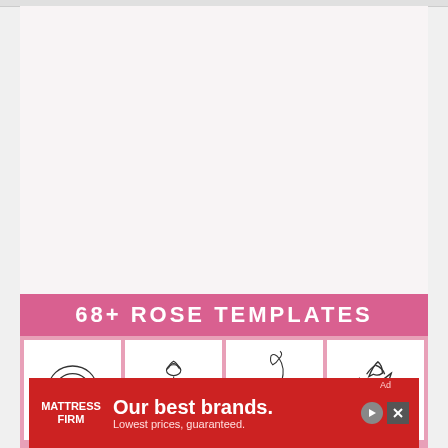[Figure (illustration): White/light pink blank content area representing a webpage with empty space above rose templates content]
[Figure (illustration): Pink banner reading '68+ ROSE TEMPLATES' with four white boxes containing black line-art illustrations of roses in different styles]
[Figure (illustration): Mattress Firm advertisement banner in red: 'Our best brands. Lowest prices, guaranteed.' with play and close icons]